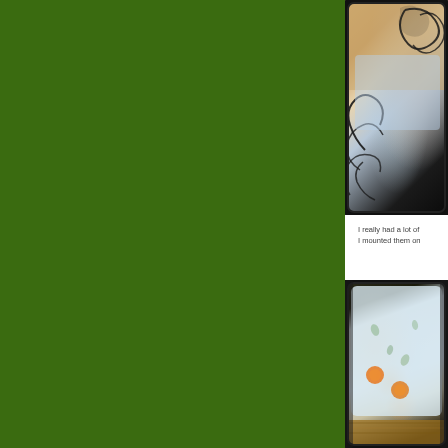[Figure (photo): Large dark green / olive green rectangular block occupying the left two-thirds of the page]
[Figure (photo): Photo of a decorative phone case with black swirl patterns on a wood-textured background, shown in the upper right area]
I really had a lot of I mounted them on
[Figure (photo): Photo of a phone case with light blue/white background featuring small floral patterns and orange round decorative elements, shown in the lower right area]